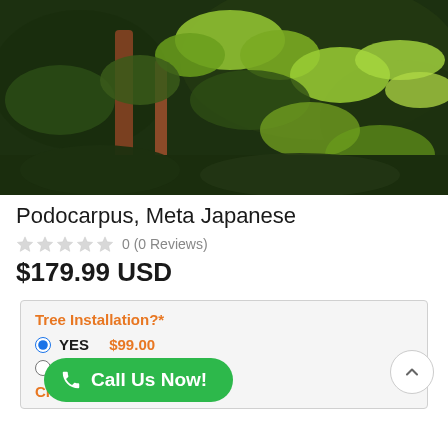[Figure (photo): Close-up photo of Podocarpus Meta Japanese plant showing dark green needle-like foliage with reddish-brown branches against a dark background.]
Podocarpus, Meta Japanese
0 (0 Reviews)
$179.99 USD
Tree Installation?*
YES $99.00
NO
Choose your MULCH*